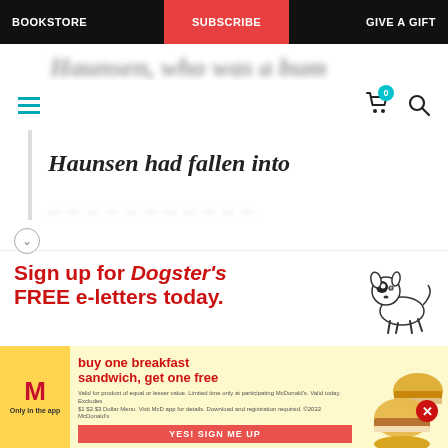BOOKSTORE | SUBSCRIBE | GIVE A GIFT
Haunsen, who was a bum
Haunsen had fallen into
[Figure (illustration): Cartoon illustration of a small white dog with a black eye patch, standing facing right]
Sign up for Dogster's FREE e-letters today.
Get health advice, nutrition information and training tips from our experts. It's FREE!
Enter your Email
[Figure (advertisement): McDonald's advertisement: buy one breakfast sandwich, get one free. Only in the app. Valid for product of equal or lesser value. Limited time only at participating McDonald's. Valid today. Excludes $1 $2 $3 Dollar Menu. Visit McD app for details. Download and registration required. ©2022 McDonald's]